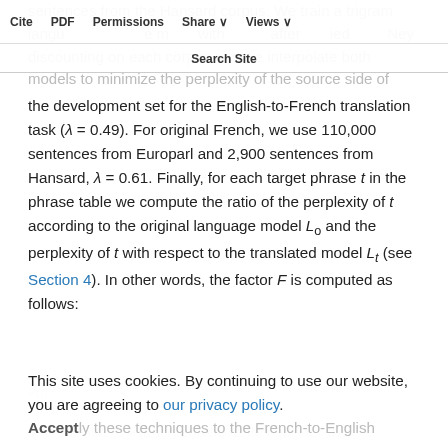sentences from the Hansard corpus. We train a trigram language model with interpolated Kneser-Ney discounting on each corpus and we interpolate both models to minimize the perplexity of the source side of
Cite  PDF  Permissions  Share  Views  Search Site
the development set for the English-to-French translation task (λ = 0.49). For original French, we use 110,000 sentences from Europarl and 2,900 sentences from Hansard, λ = 0.61. Finally, for each target phrase t in the phrase table we compute the ratio of the perplexity of t according to the original language model L₀ and the perplexity of t with respect to the translated model Lₜ (see Section 4). In other words, the factor F is computed as follows:
This site uses cookies. By continuing to use our website, you are agreeing to our privacy policy. Accept
ly these techniques to the French-to-English and English-to-French phrase tables built for th